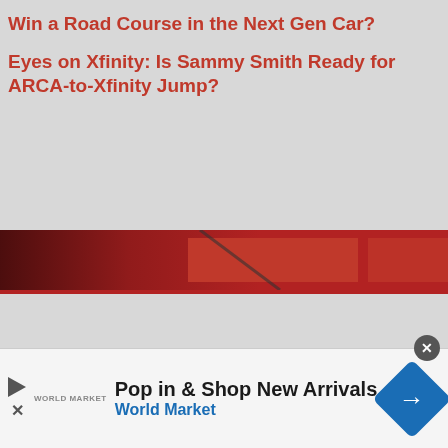Win a Road Course in the Next Gen Car?
Eyes on Xfinity: Is Sammy Smith Ready for ARCA-to-Xfinity Jump?
[Figure (photo): Red banner with dark racing car image overlay and red rectangular boxes on right side]
[Figure (other): Gray advertisement placeholder block]
Recent Comments
kb on Fire on Fridays: Here’s Who’s Most Likely to Snag the Last Cup Playoff Berths
[Figure (other): Bottom advertisement banner: Pop in & Shop New Arrivals - World Market]